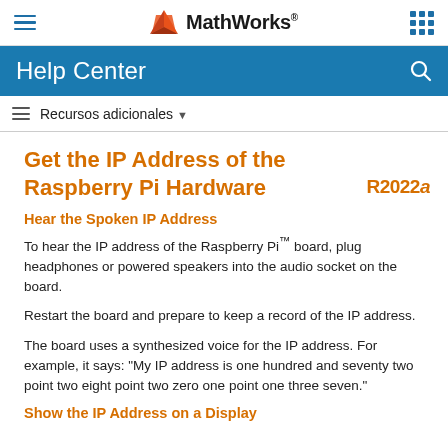MathWorks Help Center
Get the IP Address of the Raspberry Pi Hardware
Hear the Spoken IP Address
To hear the IP address of the Raspberry Pi™ board, plug headphones or powered speakers into the audio socket on the board.
Restart the board and prepare to keep a record of the IP address.
The board uses a synthesized voice for the IP address. For example, it says: “My IP address is one hundred and seventy two point two eight point two zero one point one three seven.”
Show the IP Address on a Display